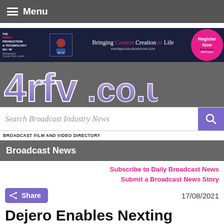Menu
[Figure (screenshot): Banner advertisement for The Media Production & Technology Show featuring NEOM logo and text 'Bringing Content Creation to Life mediaproductionshow.com' with Register Now button]
[Figure (logo): 4rfv.co.uk website logo in purple/lavender stylized font on dark grey background]
Search Broadcast Industry News
BROADCAST FILM AND VIDEO DIRECTORY
Broadcast News
Subscribe to Daily Broadcast News
Submit a Broadcast News Story
17/08/2021
Dejero Enables Nexting